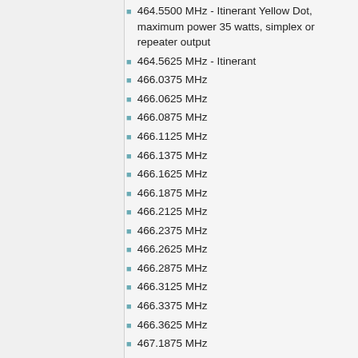464.5500 MHz - Itinerant Yellow Dot, maximum power 35 watts, simplex or repeater output
464.5625 MHz - Itinerant
466.0375 MHz
466.0625 MHz
466.0875 MHz
466.1125 MHz
466.1375 MHz
466.1625 MHz
466.1875 MHz
466.2125 MHz
466.2375 MHz
466.2625 MHz
466.2875 MHz
466.3125 MHz
466.3375 MHz
466.3625 MHz
467.1875 MHz
467.2125 MHz
467.2375 MHz
467.2625 MHz
467.2875 MHz